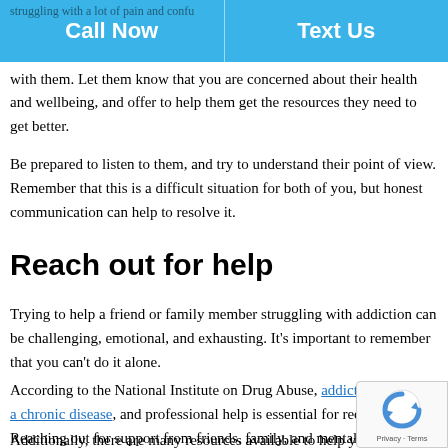Call Now | Text Us
struggling with a lot of pain and confusion. Try to communicate honestly with them. Let them know that you are concerned about their health and wellbeing, and offer to help them get the resources they need to get better.
Be prepared to listen to them, and try to understand their point of view. Remember that this is a difficult situation for both of you, but honest communication can help to resolve it.
Reach out for help
Trying to help a friend or family member struggling with addiction can be challenging, emotional, and exhausting. It's important to remember that you can't do it alone.
According to the National Institute on Drug Abuse, addiction is a chronic disease, and professional help is essential for recovery. Reaching out for support from friends, family, and mental health professionals can give you the strength and guidance you need to weather this difficult journey.
Additionally, there are many resources available to help you better